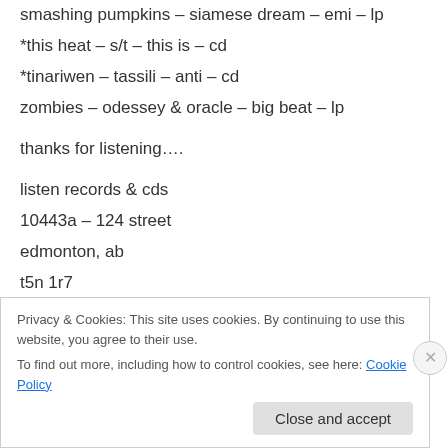smashing pumpkins – siamese dream – emi – lp
*this heat – s/t – this is – cd
*tinariwen – tassili – anti – cd
zombies – odessey & oracle – big beat – lp
thanks for listening….
listen records & cds
10443a – 124 street
edmonton, ab
t5n 1r7
Privacy & Cookies: This site uses cookies. By continuing to use this website, you agree to their use.
To find out more, including how to control cookies, see here: Cookie Policy